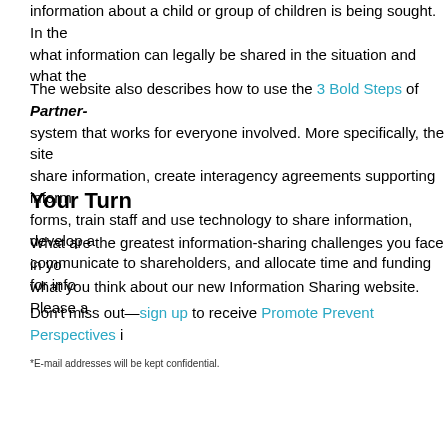information about a child or group of children is being sought. In the what information can legally be shared in the situation and what the
The website also describes how to use the 3 Bold Steps of Partner- system that works for everyone involved. More specifically, the site share information, create interagency agreements supporting inform forms, train staff and use technology to share information, develop a communicate to shareholders, and allocate time and funding for info
Your Turn
What are the greatest information-sharing challenges you face in yo what you think about our new Information Sharing website. Please a
Don't miss out—sign up to receive Promote Prevent Perspectives i
*E-mail addresses will be kept confidential.